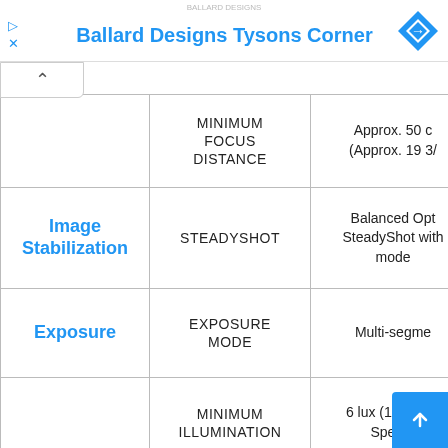Ballard Designs Tysons Corner
| Category | Spec Name | Value |
| --- | --- | --- |
|  | MINIMUM FOCUS DISTANCE | Approx. 50 c (Approx. 19 3/ |
| Image Stabilization | STEADYSHOT | Balanced Opt SteadyShot with mode |
| Exposure | EXPOSURE MODE | Multi-segme |
|  | MINIMUM ILLUMINATION | 6 lux (1/30 Shu Speed) |
| White Balance | WHITE BALANCE MODES | AUTO/Colo Temp/Custo |
|  | SHUTTER | 1/30 – 1/10,00 |